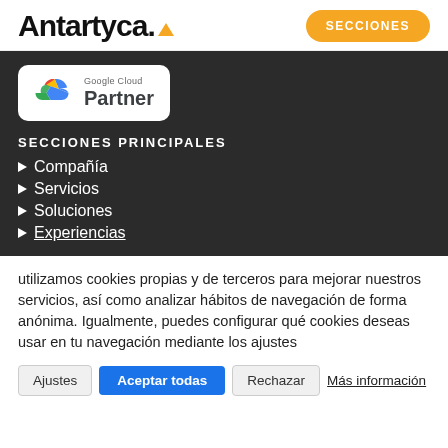Antartyca.
SECCIONES
[Figure (logo): Google Cloud Partner badge with colorful cloud logo]
SECCIONES PRINCIPALES
Compañía
Servicios
Soluciones
Experiencias
utilizamos cookies propias y de terceros para mejorar nuestros servicios, así como analizar hábitos de navegación de forma anónima. Igualmente, puedes configurar qué cookies deseas usar en tu navegación mediante los ajustes
Ajustes | Aceptar todas | Rechazar | Más información